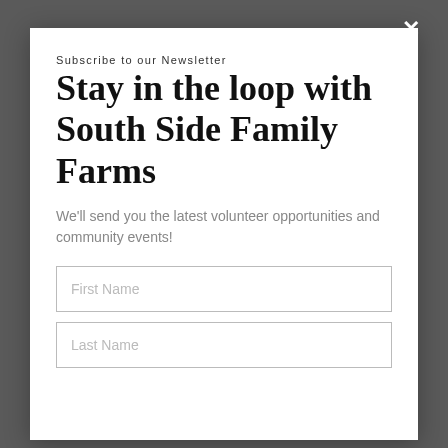×
Subscribe to our Newsletter
Stay in the loop with South Side Family Farms
We'll send you the latest volunteer opportunities and community events!
First Name
Last Name